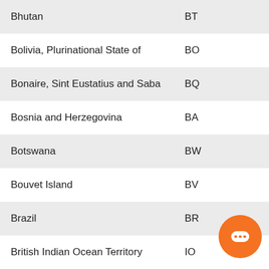| Country | Code |
| --- | --- |
| Bhutan | BT |
| Bolivia, Plurinational State of | BO |
| Bonaire, Sint Eustatius and Saba | BQ |
| Bosnia and Herzegovina | BA |
| Botswana | BW |
| Bouvet Island | BV |
| Brazil | BR |
| British Indian Ocean Territory | IO |
| Brunei Darussalam | BN |
| Bulgaria | BG |